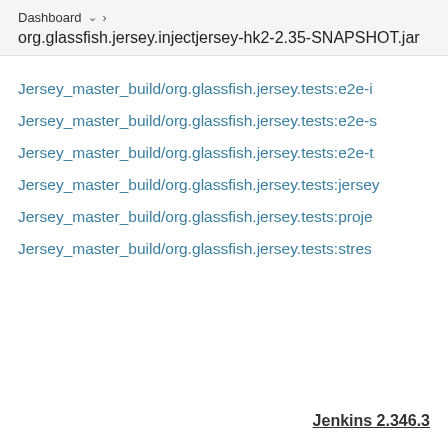Dashboard > org.glassfish.jersey.injectjersey-hk2-2.35-SNAPSHOT.jar
Jersey_master_build/org.glassfish.jersey.tests:e2e-i
Jersey_master_build/org.glassfish.jersey.tests:e2e-s
Jersey_master_build/org.glassfish.jersey.tests:e2e-t
Jersey_master_build/org.glassfish.jersey.tests:jersey
Jersey_master_build/org.glassfish.jersey.tests:proje
Jersey_master_build/org.glassfish.jersey.tests:stres
Jenkins 2.346.3